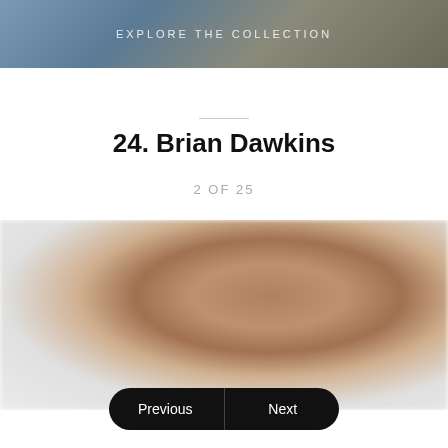[Figure (photo): Top banner image showing a person, overlaid with text 'EXPLORE THE COLLECTION']
24. Brian Dawkins
2 OF 25
[Figure (photo): Blurred close-up portrait photo of Brian Dawkins against a light background]